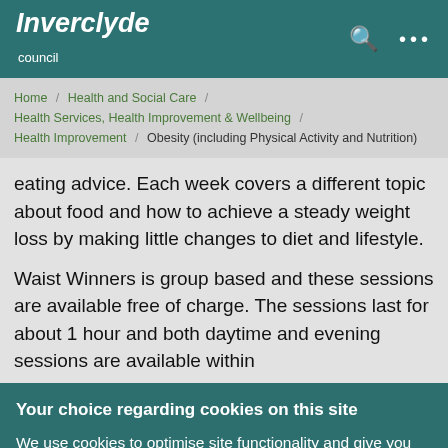Inverclyde council
Home / Health and Social Care / Health Services, Health Improvement & Wellbeing / Health Improvement / Obesity (including Physical Activity and Nutrition)
eating advice. Each week covers a different topic about food and how to achieve a steady weight loss by making little changes to diet and lifestyle.
Waist Winners is group based and these sessions are available free of charge. The sessions last for about 1 hour and both daytime and evening sessions are available within
Your choice regarding cookies on this site
We use cookies to optimise site functionality and give you the best possible experience.
I Accept Cookies | I Do Not Accept Cookies